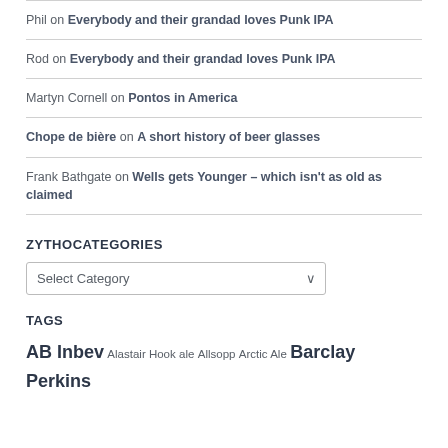Phil on Everybody and their grandad loves Punk IPA
Rod on Everybody and their grandad loves Punk IPA
Martyn Cornell on Pontos in America
Chope de bière on A short history of beer glasses
Frank Bathgate on Wells gets Younger – which isn't as old as claimed
ZYTHOCATEGORIES
Select Category
TAGS
AB Inbev Alastair Hook ale Allsopp Arctic Ale Barclay Perkins